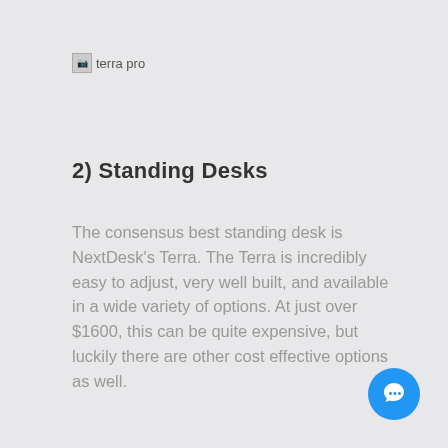[Figure (logo): terra pro logo placeholder image with text 'terra pro']
2) Standing Desks
The consensus best standing desk is NextDesk’s Terra. The Terra is incredibly easy to adjust, very well built, and available in a wide variety of options. At just over $1600, this can be quite expensive, but luckily there are other cost effective options as well.
[Figure (other): Blue circular chat/messaging button icon in the bottom right corner]